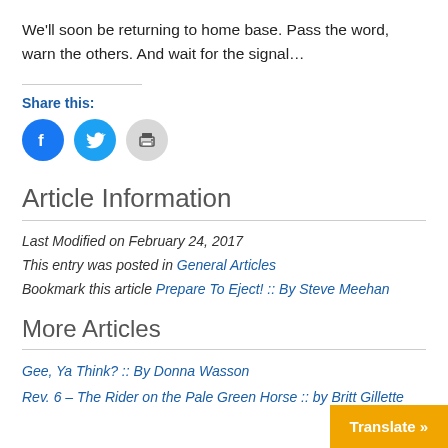We'll soon be returning to home base. Pass the word, warn the others. And wait for the signal…
Share this:
[Figure (infographic): Three circular social share buttons: Facebook (blue), Twitter (blue), Print (gray)]
Article Information
Last Modified on February 24, 2017
This entry was posted in General Articles
Bookmark this article Prepare To Eject! :: By Steve Meehan
More Articles
Gee, Ya Think? :: By Donna Wasson
Rev. 6 – The Rider on the Pale Green Horse :: by Britt Gillette